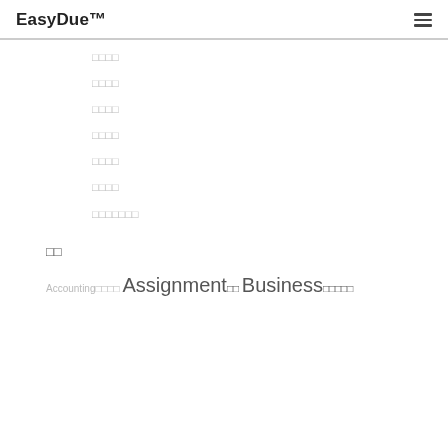EasyDue™
□□□□
□□□□
□□□□
□□□□
□□□□
□□□□
□□□□□□□
□□
Accounting□□□□ Assignment□□ Business□□□□□